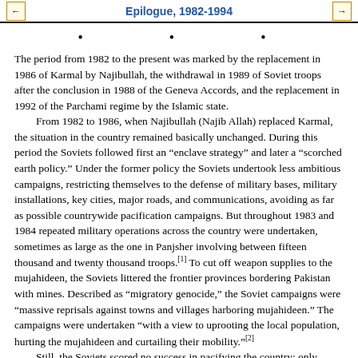Epilogue, 1982-1994
• • •
The period from 1982 to the present was marked by the replacement in 1986 of Karmal by Najibullah, the withdrawal in 1989 of Soviet troops after the conclusion in 1988 of the Geneva Accords, and the replacement in 1992 of the Parchami regime by the Islamic state.

From 1982 to 1986, when Najibullah (Najib Allah) replaced Karmal, the situation in the country remained basically unchanged. During this period the Soviets followed first an "enclave strategy" and later a "scorched earth policy." Under the former policy the Soviets undertook less ambitious campaigns, restricting themselves to the defense of military bases, military installations, key cities, major roads, and communications, avoiding as far as possible countrywide pacification campaigns. But throughout 1983 and 1984 repeated military operations across the country were undertaken, sometimes as large as the one in Panjsher involving between fifteen thousand and twenty thousand troops.[1] To cut off weapon supplies to the mujahideen, the Soviets littered the frontier provinces bordering Pakistan with mines. Described as "migratory genocide," the Soviet campaigns were "massive reprisals against towns and villages harboring mujahideen." The campaigns were undertaken "with a view to uprooting the local population, hurting the mujahideen and curtailing their mobility."[2]

Still, the Soviets scored no success in pacifying the country; only during the winter months were they able to extend their defenses, push their perimeter outwards, and capture mujahideen bases and